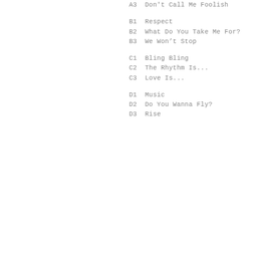A3  Don't Call Me Foolish
B1  Respect
B2  What Do You Take Me For?
B3  We Won't Stop
C1  Bling Bling
C2  The Rhythm Is...
C3  Love Is...
D1  Music
D2  Do You Wanna Fly?
D3  Rise